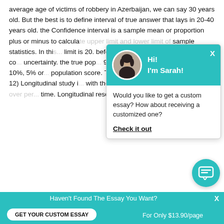average age of victims of robbery in Azerbaijan, we can say 30 years old. But the best is to define interval of true answer that lays in 20-40 years old. the Confidence interval is a sample mean or proportion plus or minus to calculate upper limit and lower limit of sample statistics. In this... limit is 20. before calcu... 90%, 95% or 99% of co... uncertainty. the true pop... 90%, 95% or all... means that 10%, 5% or... population score. Then... by using mean.
12) Longitudinal study i... with the collection and analysis of data over per... time. Longitudinal research design tracks the sam...
[Figure (screenshot): Chat popup with avatar of Sarah, teal header, message asking if user wants custom essay, and 'Check it out' link]
[Figure (screenshot): Teal messenger/chat button in bottom right]
Haven't Found The Essay You Want? GET YOUR CUSTOM ESSAY For Only $13.90/page